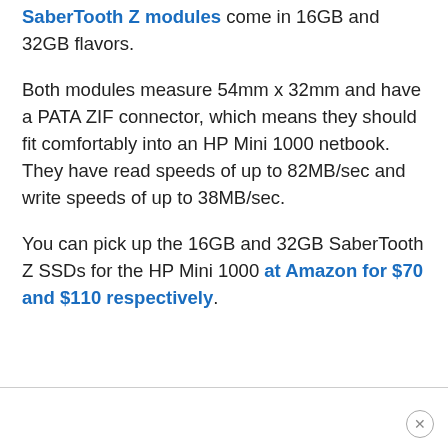SaberTooth Z modules come in 16GB and 32GB flavors.
Both modules measure 54mm x 32mm and have a PATA ZIF connector, which means they should fit comfortably into an HP Mini 1000 netbook. They have read speeds of up to 82MB/sec and write speeds of up to 38MB/sec.
You can pick up the 16GB and 32GB SaberTooth Z SSDs for the HP Mini 1000 at Amazon for $70 and $110 respectively.